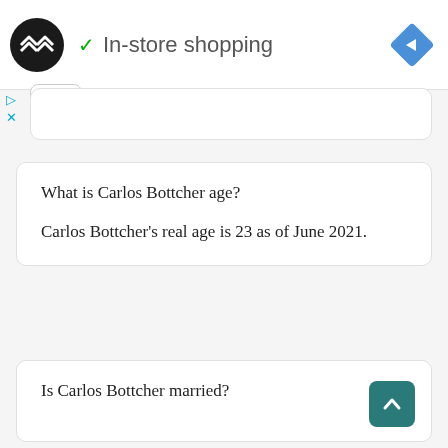In-store shopping
What is Carlos Bottcher age?

Carlos Bottcher's real age is 23 as of June 2021.
Is Carlos Bottcher married?